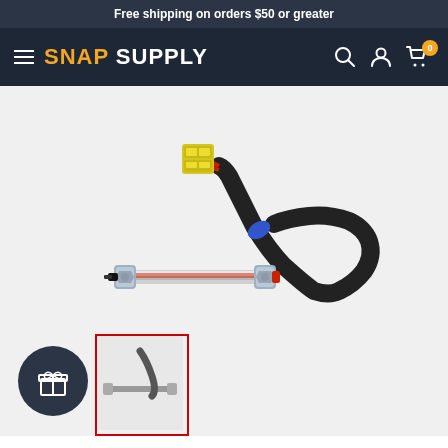Free shipping on orders $50 or greater
[Figure (logo): Snap Supply logo with hamburger menu icon on dark navy background, plus search, account, and cart icons on the right]
[Figure (photo): Product photo of an appliance heating element / igniter with yellow plastic connector, red wires, blue connector, black cable, and a metal tubular heating element with silver bolted ends, on a light gray background]
[Figure (other): Dark circular gift/rewards widget icon in the bottom-left corner, with a gift box icon in white]